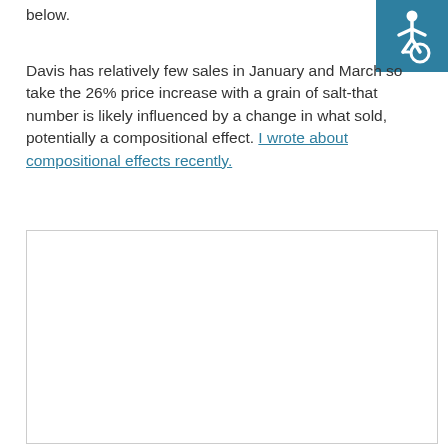below.
[Figure (illustration): Accessibility icon (wheelchair symbol) in white on teal/blue background, top-right corner]
Davis has relatively few sales in January and March so take the 26% price increase with a grain of salt-that number is likely influenced by a change in what sold, potentially a compositional effect. I wrote about compositional effects recently.
[Figure (other): Empty white figure box with light grey border, placeholder for a chart or image]